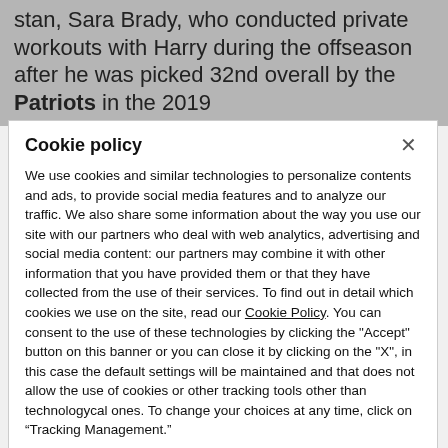stan, Sara Brady, who conducted private workouts with Harry during the offseason after he was picked 32nd overall by the Patriots in the 2019
Cookie policy
We use cookies and similar technologies to personalize contents and ads, to provide social media features and to analyze our traffic. We also share some information about the way you use our site with our partners who deal with web analytics, advertising and social media content: our partners may combine it with other information that you have provided them or that they have collected from the use of their services. To find out in detail which cookies we use on the site, read our Cookie Policy. You can consent to the use of these technologies by clicking the "Accept" button on this banner or you can close it by clicking on the "X", in this case the default settings will be maintained and that does not allow the use of cookies or other tracking tools other than technologycal ones. To change your choices at any time, click on “Tracking Management.”
ACCEPT
TRACKERS MANAGEMENT
Show vendors | Show purposes